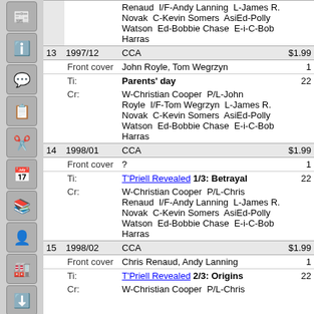| # | Date | Publisher/Title/Credits | Price/Pages |
| --- | --- | --- | --- |
|  |  | Renaud  I/F-Andy Lanning  L-James R. Novak  C-Kevin Somers  AsiEd-Polly Watson  Ed-Bobbie Chase  E-i-C-Bob Harras |  |
| 13 | 1997/12 | CCA | $1.99 |
|  | Front cover | John Royle, Tom Wegrzyn | 1 |
|  | Ti: | Parents' day | 22 |
|  | Cr: | W-Christian Cooper  P/L-John Royle  I/F-Tom Wegrzyn  L-James R. Novak  C-Kevin Somers  AsiEd-Polly Watson  Ed-Bobbie Chase  E-i-C-Bob Harras |  |
| 14 | 1998/01 | CCA | $1.99 |
|  | Front cover | ? | 1 |
|  | Ti: | T'Priell Revealed 1/3: Betrayal | 22 |
|  | Cr: | W-Christian Cooper  P/L-Chris Renaud  I/F-Andy Lanning  L-James R. Novak  C-Kevin Somers  AsiEd-Polly Watson  Ed-Bobbie Chase  E-i-C-Bob Harras |  |
| 15 | 1998/02 | CCA | $1.99 |
|  | Front cover | Chris Renaud, Andy Lanning | 1 |
|  | Ti: | T'Priell Revealed 2/3: Origins | 22 |
|  | Cr: | W-Christian Cooper  P/L-Chris |  |